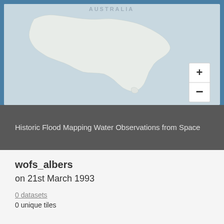[Figure (map): Interactive map showing Australia with a light blue-grey background and white/light landmass outline. Zoom in (+) and zoom out (-) buttons visible in lower right corner of map.]
Historic Flood Mapping Water Observations from Space
wofs_albers
on 21st March 1993
0 datasets
0 unique tiles